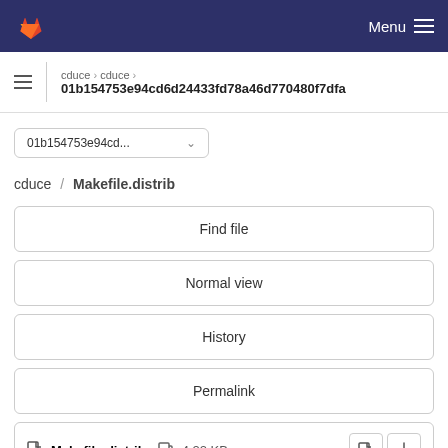Menu
cduce > cduce > 01b154753e94cd6d24433fd78a46d770480f7dfa
01b154753e94cd...
cduce / Makefile.distrib
Find file
Normal view
History
Permalink
Makefile.distrib  4.22 KB